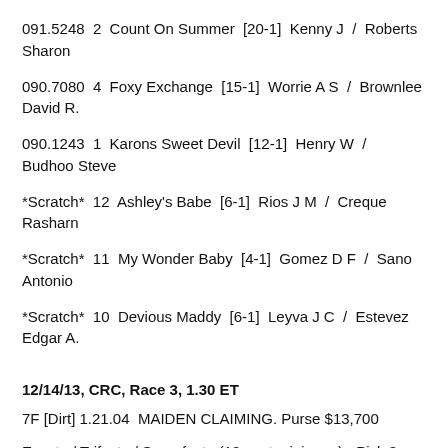091.5248  2  Count On Summer  [20-1]  Kenny J  /  Roberts Sharon
090.7080  4  Foxy Exchange  [15-1]  Worrie A S  /  Brownlee David R.
090.1243  1  Karons Sweet Devil  [12-1]  Henry W  /  Budhoo Steve
*Scratch*  12  Ashley's Babe  [6-1]  Rios J M  /  Creque Rasharn
*Scratch*  11  My Wonder Baby  [4-1]  Gomez D F  /  Sano Antonio
*Scratch*  10  Devious Maddy  [6-1]  Leyva J C  /  Estevez Edgar A.
12/14/13, CRC, Race 3, 1.30 ET
7F [Dirt] 1.21.04  MAIDEN CLAIMING. Purse $13,700
Exacta / Trifecta / Superfecta (10 cent minimum) - Pick 3 (Races